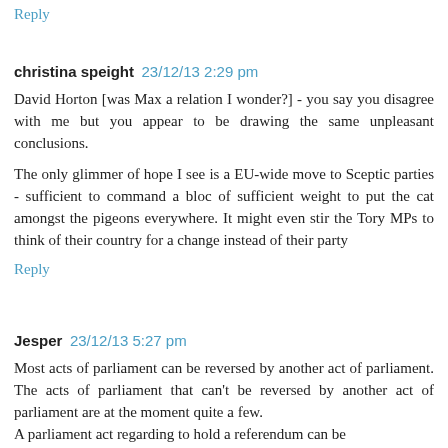Reply
christina speight   23/12/13 2:29 pm
David Horton [was Max a relation I wonder?] - you say you disagree with me but you appear to be drawing the same unpleasant conclusions.
The only glimmer of hope I see is a EU-wide move to Sceptic parties - sufficient to command a bloc of sufficient weight to put the cat amongst the pigeons everywhere. It might even stir the Tory MPs to think of their country for a change instead of their party
Reply
Jesper   23/12/13 5:27 pm
Most acts of parliament can be reversed by another act of parliament. The acts of parliament that can't be reversed by another act of parliament are at the moment quite a few. A parliament act regarding to hold a referendum can be